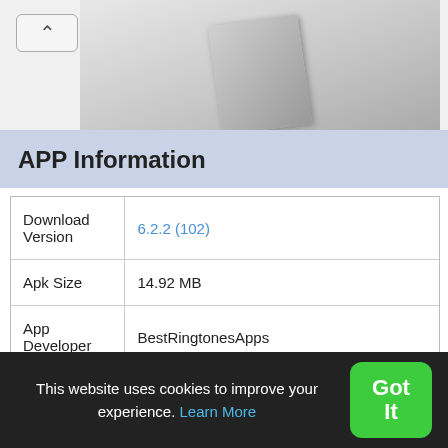[Figure (screenshot): Partial app screenshot showing back button and app image at the top]
APP Information
|  |  |
| --- | --- |
| Download Version | 6.2.2 (102) |
| Apk Size | 14.92 MB |
| App Developer | BestRingtonesApps |
| Malware Check | TRUSTED |
| Install on Android | 4.1.x and up |
| App Package | com.bestringtonesapps.birdcallssoundsandringtones.apk |
This website uses cookies to improve your experience. Learn More